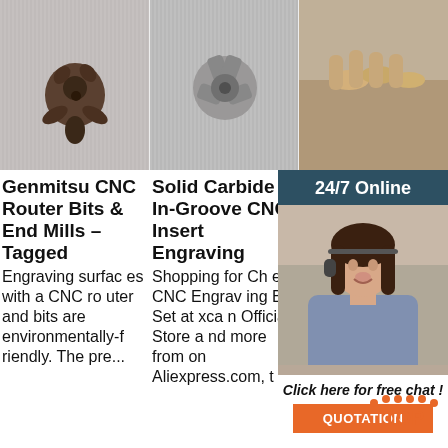[Figure (photo): Close-up photo of a CNC router bit end mill on grey background]
[Figure (photo): Close-up photo of a solid carbide in-groove CNC insert on grey background]
[Figure (photo): Photo of person holding coins, with 24/7 online chat widget overlay showing a woman with headset]
Genmitsu CNC Router Bits & End Mills – Tagged
Engraving surfaces with a CNC router and bits are environmentally-friendly. The pre...
Solid Carbide In-Groove CNC Insert Engraving
Shopping for Cheap CNC Engraving Bit Set at xcan Official Store and more from on Aliexpress.com, t
En... Too... Ro...
Buy... at low prices on end mills, CNC & router bits and accessories. Skip to main content Toggle menu. Se...